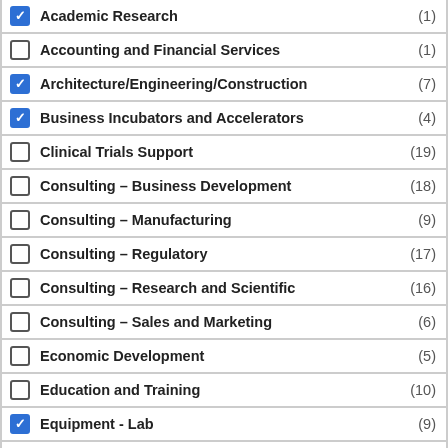Academic Research (1)
Accounting and Financial Services (1)
Architecture/Engineering/Construction (7)
Business Incubators and Accelerators (4)
Clinical Trials Support (19)
Consulting – Business Development (18)
Consulting – Manufacturing (9)
Consulting – Regulatory (17)
Consulting – Research and Scientific (16)
Consulting – Sales and Marketing (6)
Economic Development (5)
Education and Training (10)
Equipment - Lab (9)
Equipment - Manufacturing (4)